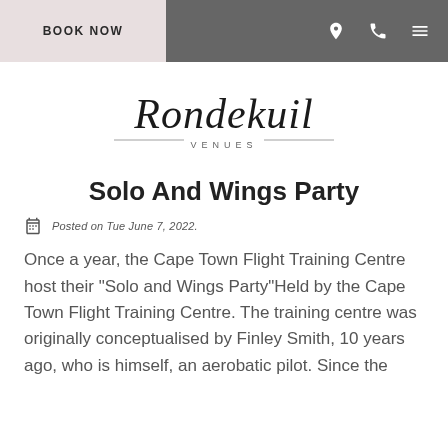BOOK NOW
[Figure (logo): Rondekuil Venues logo with script font and horizontal rules]
Solo And Wings Party
Posted on Tue June 7, 2022.
Once a year, the Cape Town Flight Training Centre host their “Solo and Wings Party”Held by the Cape Town Flight Training Centre. The training centre was originally conceptualised by Finley Smith, 10 years ago, who is himself, an aerobatic pilot. Since the...